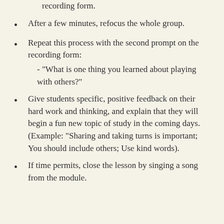After a few minutes, refocus the whole group.
Repeat this process with the second prompt on the recording form: - "What is one thing you learned about playing with others?"
Give students specific, positive feedback on their hard work and thinking, and explain that they will begin a fun new topic of study in the coming days. (Example: "Sharing and taking turns is important; You should include others; Use kind words).
If time permits, close the lesson by singing a song from the module.